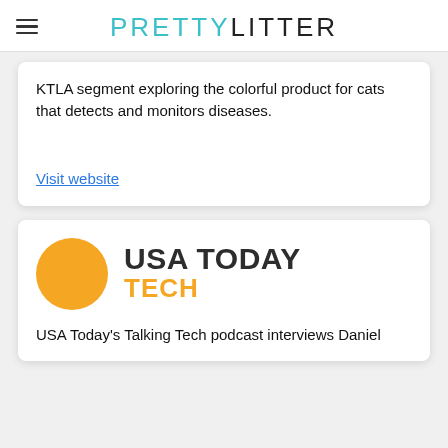PRETTYLITTER
KTLA segment exploring the colorful product for cats that detects and monitors diseases.
Visit website
[Figure (logo): USA Today Tech logo with orange circle and bold text 'USA TODAY TECH']
USA Today's Talking Tech podcast interviews Daniel